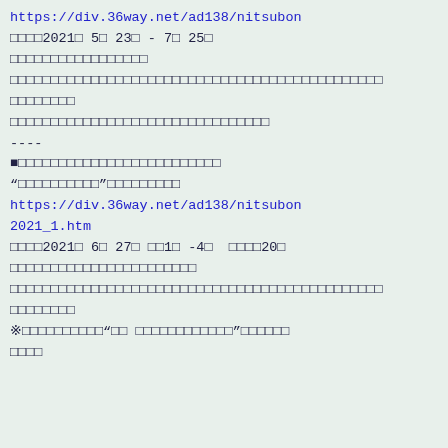https://div.36way.net/ad138/nitsubon
□□□□2021□ 5□ 23□ - 7□ 25□
□□□□□□□□□□□□□□□□□
□□□□□□□□□□□□□□□□□□□□□□□□□□□□□□□□□□□□□□□□□□□□
□□□□□□□□
□□□□□□□□□□□□□□□□□□□□□□□□□□□□□□□□
----
■□□□□□□□□□□□□□□□□□□□□□□□□□
“□□□□□□□□□□”□□□□□□□□□
https://div.36way.net/ad138/nitsubon
2021_1.htm
□□□□2021□ 6□ 27□ □□1□ -4□ □□□□20□
□□□□□□□□□□□□□□□□□□□□□□□
□□□□□□□□□□□□□□□□□□□□□□□□□□□□□□□□□□□□□□□□□□□□
□□□□□□□□
※□□□□□□□□□□□“□□ □□□□□□□□□□□□”□□□□□□
□□□□